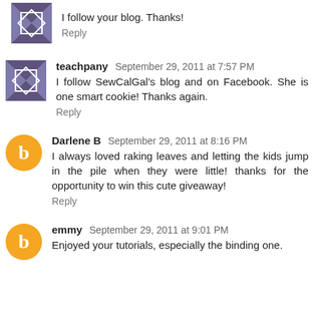I follow your blog. Thanks!
Reply
teachpany  September 29, 2011 at 7:57 PM
I follow SewCalGal's blog and on Facebook. She is one smart cookie! Thanks again.
Reply
Darlene B  September 29, 2011 at 8:16 PM
I always loved raking leaves and letting the kids jump in the pile when they were little! thanks for the opportunity to win this cute giveaway!
Reply
emmy  September 29, 2011 at 9:01 PM
Enjoyed your tutorials, especially the binding one.